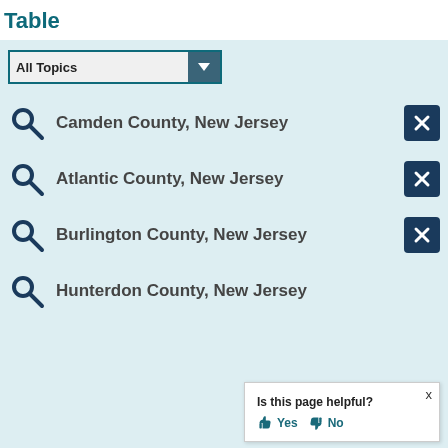Table
All Topics (dropdown)
Camden County, New Jersey
Atlantic County, New Jersey
Burlington County, New Jersey
Hunterdon County, New Jersey
Is this page helpful? Yes No